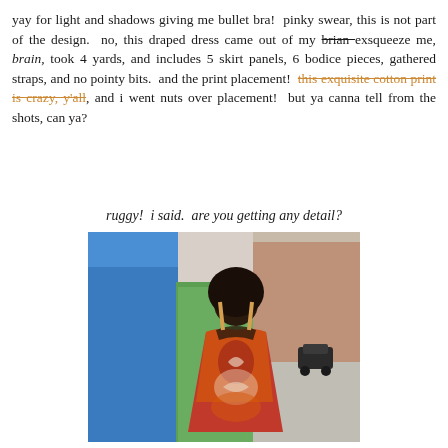yay for light and shadows giving me bullet bra!  pinky swear, this is not part of the design.  no, this draped dress came out of my brian exsqueeze me, brain, took 4 yards, and includes 5 skirt panels, 6 bodice pieces, gathered straps, and no pointy bits.  and the print placement!  this exquisite cotton print is crazy, y'all, and i went nuts over placement!  but ya canna tell from the shots, can ya?
ruggy!  i said.  are you getting any detail?
[Figure (photo): A woman in a colorful printed draped dress photographed from behind, standing near a blue and green wall with a city street in the background.]